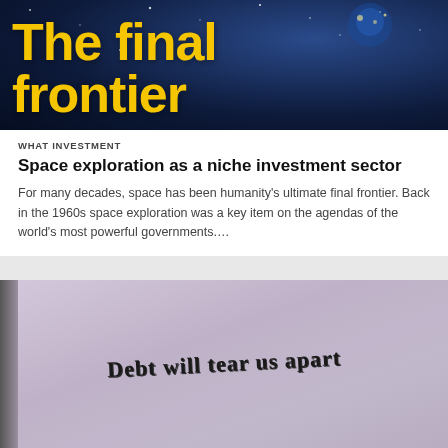[Figure (photo): Space/Earth from orbit background image with large yellow bold text reading 'The final frontier']
WHAT INVESTMENT
Space exploration as a niche investment sector
For many decades, space has been humanity's ultimate final frontier. Back in the 1960s space exploration was a key item on the agendas of the world's most powerful governments....
[Figure (photo): Photo of graffiti on a wall reading 'Debt will tear us apart']